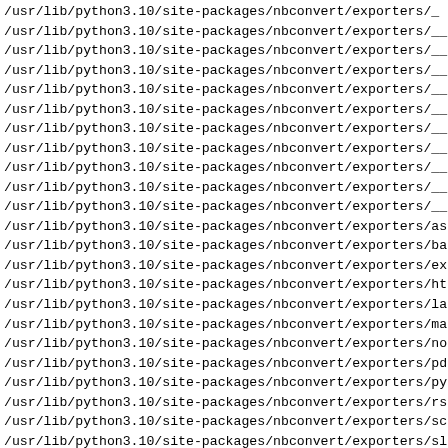/usr/lib/python3.10/site-packages/nbconvert/exporters/__
/usr/lib/python3.10/site-packages/nbconvert/exporters/__
/usr/lib/python3.10/site-packages/nbconvert/exporters/__p
/usr/lib/python3.10/site-packages/nbconvert/exporters/__p
/usr/lib/python3.10/site-packages/nbconvert/exporters/__p
/usr/lib/python3.10/site-packages/nbconvert/exporters/__p
/usr/lib/python3.10/site-packages/nbconvert/exporters/__p
/usr/lib/python3.10/site-packages/nbconvert/exporters/__p
/usr/lib/python3.10/site-packages/nbconvert/exporters/__p
/usr/lib/python3.10/site-packages/nbconvert/exporters/__p
/usr/lib/python3.10/site-packages/nbconvert/exporters/__p
/usr/lib/python3.10/site-packages/nbconvert/exporters/asc
/usr/lib/python3.10/site-packages/nbconvert/exporters/bas
/usr/lib/python3.10/site-packages/nbconvert/exporters/exp
/usr/lib/python3.10/site-packages/nbconvert/exporters/htr
/usr/lib/python3.10/site-packages/nbconvert/exporters/lat
/usr/lib/python3.10/site-packages/nbconvert/exporters/mar
/usr/lib/python3.10/site-packages/nbconvert/exporters/not
/usr/lib/python3.10/site-packages/nbconvert/exporters/pdt
/usr/lib/python3.10/site-packages/nbconvert/exporters/pyt
/usr/lib/python3.10/site-packages/nbconvert/exporters/rst
/usr/lib/python3.10/site-packages/nbconvert/exporters/scr
/usr/lib/python3.10/site-packages/nbconvert/exporters/sli
/usr/lib/python3.10/site-packages/nbconvert/exporters/ter
/usr/lib/python3.10/site-packages/nbconvert/exporters/tes
/usr/lib/python3.10/site-packages/nbconvert/exporters/tes
/usr/lib/python3.10/site-packages/nbconvert/exporters/tes
/usr/lib/python3.10/site-packages/nbconvert/exporters/tes
/usr/lib/python3.10/site-packages/nbconvert/exporters/tes
/usr/lib/python3.10/site-packages/nbconvert/exporters/tes
/usr/lib/python3.10/site-packages/nbconvert/exporters/tes